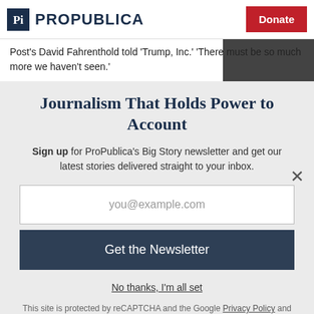ProPublica | Donate
Post's David Fahrenthold told 'Trump, Inc.' 'There must be so much more we haven't seen.'
Journalism That Holds Power to Account
Sign up for ProPublica's Big Story newsletter and get our latest stories delivered straight to your inbox.
you@example.com
Get the Newsletter
No thanks, I'm all set
This site is protected by reCAPTCHA and the Google Privacy Policy and Terms of Service apply.